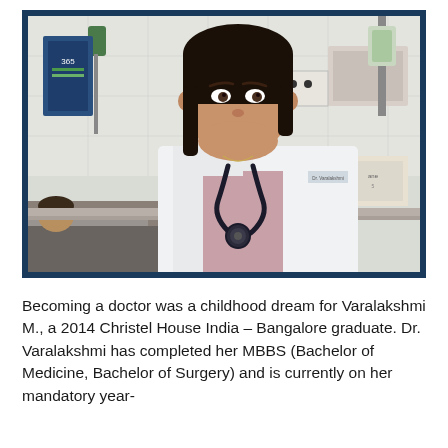[Figure (photo): A young Indian woman wearing a white doctor's coat and stethoscope around her neck, standing in a hospital ward setting. A patient rests on a bed in the background. Medical equipment and tiled walls are visible.]
Becoming a doctor was a childhood dream for Varalakshmi M., a 2014 Christel House India – Bangalore graduate. Dr. Varalakshmi has completed her MBBS (Bachelor of Medicine, Bachelor of Surgery) and is currently on her mandatory year-